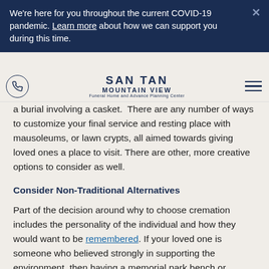We're here for you throughout the current COVID-19 pandemic. Learn more about how we can support you during this time.
[Figure (logo): San Tan Mountain View Funeral Home and Advance Planning Center logo with phone icon and hamburger menu]
a burial involving a casket. There are any number of ways to customize your final service and resting place with mausoleums, or lawn crypts, all aimed towards giving loved ones a place to visit. There are other, more creative options to consider as well.
Consider Non-Traditional Alternatives
Part of the decision around why to choose cremation includes the personality of the individual and how they would want to be remembered. If your loved one is someone who believed strongly in supporting the environment, then having a memorial park bench or planting a tree would be a lasting final memorial.